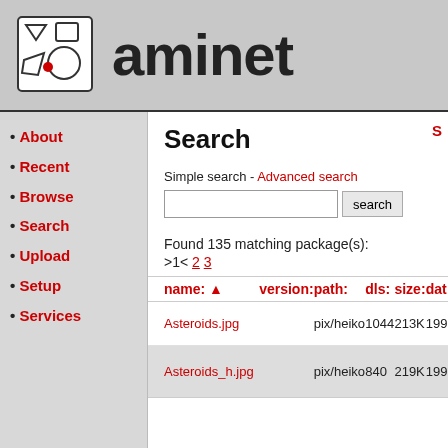[Figure (logo): Aminet logo with geometric shapes and red dot]
aminet
About
Recent
Browse
Search
Upload
Setup
Services
Search
Simple search - Advanced search
Found 135 matching package(s):
>1< 2 3
| name: ▲ | version: | path: | dls: | size: | dat: |
| --- | --- | --- | --- | --- | --- |
| Asteroids.jpg |  | pix/heiko | 1044 | 213K | 199 |
| Asteroids_h.jpg |  | pix/heiko | 840 | 219K | 199 |